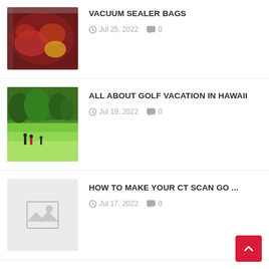[Figure (photo): Vacuum-sealed bag with raw meat and vegetables]
VACUUM SEALER BAGS
Jul 25, 2022  0
[Figure (photo): Golf course in Hawaii with players on green fairway]
ALL ABOUT GOLF VACATION IN HAWAII
Jul 19, 2022  0
[Figure (photo): Placeholder image thumbnail (no image available)]
HOW TO MAKE YOUR CT SCAN GO ...
Jul 17, 2022  0
CATEGORIES